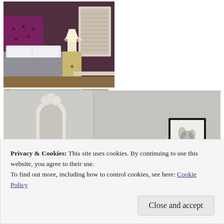[Figure (photo): Bedroom with purple tufted headboard, white bedding, floral wallpaper, bedside lamp and white side table, window with blinds]
[Figure (photo): Elegant bathroom with freestanding white oval bathtub, large sash window with countryside view, bath products and candles on tray]
[Figure (photo): Bright airy bedroom corner with ornate white mirror, white vanity stool, framed artwork on wall]
[Figure (photo): Partial view of bedroom furniture at bottom, partially obscured by cookie banner]
Privacy & Cookies: This site uses cookies. By continuing to use this website, you agree to their use.
To find out more, including how to control cookies, see here: Cookie Policy
Close and accept